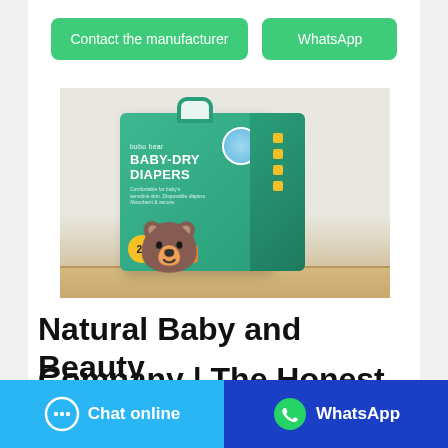[Figure (screenshot): Two green buttons: 'Contact the manufacturer' and 'WhatsApp']
[Figure (photo): Bubu Bear Baby-Dry Diapers product box on a wooden shelf. Green box with bear mascot character, 28 count, large size.]
Natural Baby and Beauty
Company | The Honest
Chat online | WhatsApp